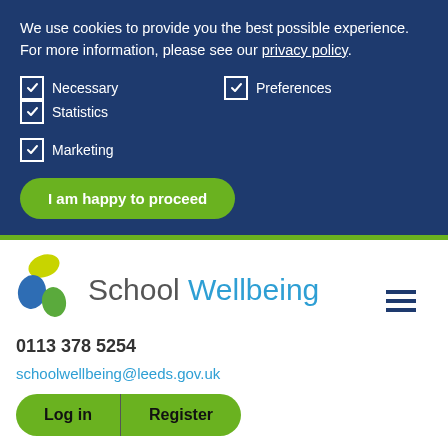We use cookies to provide you the best possible experience. For more information, please see our privacy policy.
☑ Necessary   ☑ Preferences   ☑ Statistics
☑ Marketing
I am happy to proceed
[Figure (logo): School Wellbeing logo with coloured circles (yellow, blue, green) and site name 'School Wellbeing']
0113 378 5254
schoolwellbeing@leeds.gov.uk
Log in   Register
Home > Mental Health & Wellbeing >